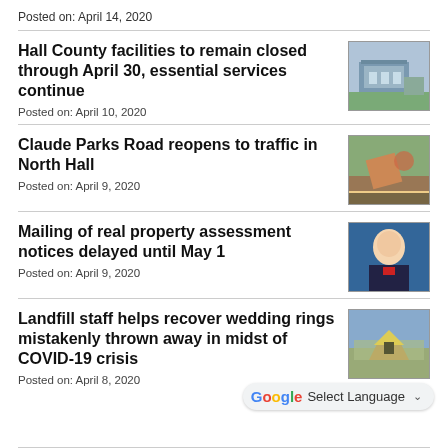Posted on: April 14, 2020
Hall County facilities to remain closed through April 30, essential services continue
Posted on: April 10, 2020
[Figure (photo): Building exterior photo]
Claude Parks Road reopens to traffic in North Hall
Posted on: April 9, 2020
[Figure (photo): Road construction or nature scene photo]
Mailing of real property assessment notices delayed until May 1
Posted on: April 9, 2020
[Figure (photo): Portrait of a man in a suit with red tie]
Landfill staff helps recover wedding rings mistakenly thrown away in midst of COVID-19 crisis
Posted on: April 8, 2020
[Figure (photo): Landfill aerial photo]